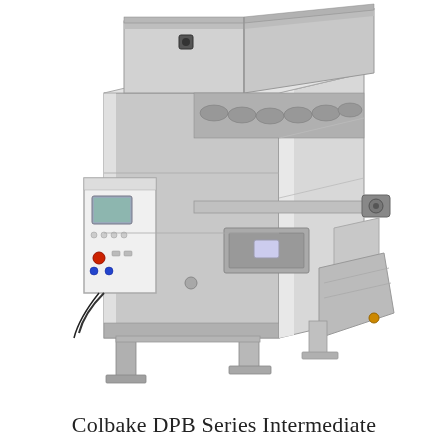[Figure (photo): Photograph of the Colbake DPB Series Intermediate industrial baking/dough processing machine. The machine is stainless steel, large and boxy, with a wide upper hood section, a control panel on the left side, conveyor and processing components visible in the middle, and support legs at the bottom. The machine is shown in a 3/4 perspective view against a white background.]
Colbake DPB Series Intermediate